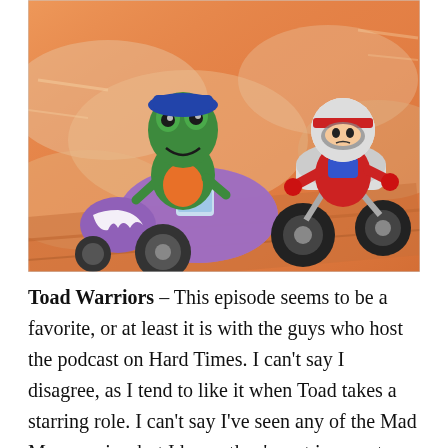[Figure (illustration): Cartoon animation still showing a green toad/dinosaur character driving a purple sidecar motorcycle with a computer on it, and a human character in a red suit and white helmet riding a white motorcycle alongside, set against an orange/peach dusty background with clouds.]
Toad Warriors – This episode seems to be a favorite, or at least it is with the guys who host the podcast on Hard Times. I can't say I disagree, as I tend to like it when Toad takes a starring role. I can't say I've seen any of the Mad Max movies, but I know they're set in a post-apocalyptic Australia, which appears to be only slightly different from modern Australia. The plot of the second one, The Road Warrior, involves a desert compound guarding some